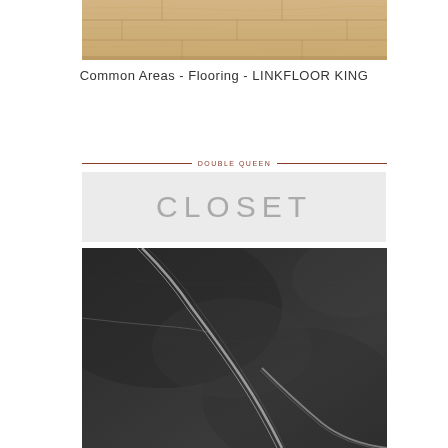[Figure (photo): Wood plank flooring texture in light natural oak color]
Common Areas - Flooring - LINKFLOOR KING
DOUBLE QUEEN
CLOSET
[Figure (photo): Dark grey marble tile texture with white veining streaks]